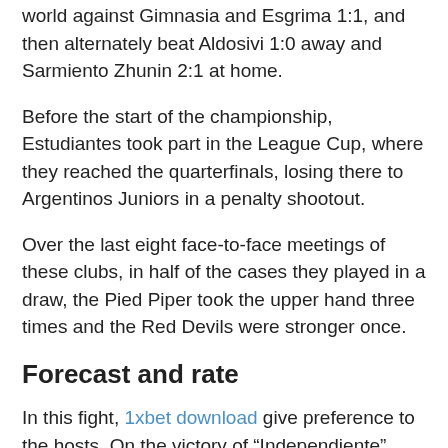world against Gimnasia and Esgrima 1:1, and then alternately beat Aldosivi 1:0 away and Sarmiento Zhunin 2:1 at home.
Before the start of the championship, Estudiantes took part in the League Cup, where they reached the quarterfinals, losing there to Argentinos Juniors in a penalty shootout.
Over the last eight face-to-face meetings of these clubs, in half of the cases they played in a draw, the Pied Piper took the upper hand three times and the Red Devils were stronger once.
Forecast and rate
In this fight, 1xbet download give preference to the hosts. On the victory of “Independiente” they offer – 2.34.
On the victory of “Estudiantes” La Plata they give – 3.10, a draw is estimated – at 3.10.